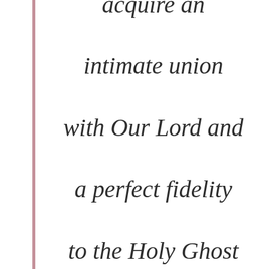acquire an intimate union with Our Lord and a perfect fidelity to the Holy Ghost without a very great union with the most holy Virgin, and a great